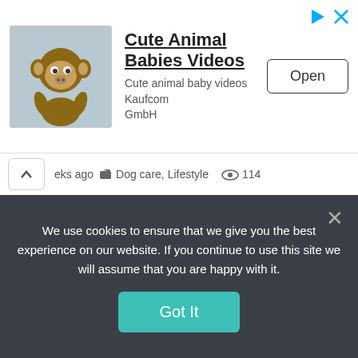[Figure (screenshot): Advertisement banner with monkey image, title 'Cute Animal Babies Videos', subtitle 'Cute animal baby videos Kaufcom GmbH', and an 'Open' button]
eks ago   Dog care, Lifestyle   114
[Figure (photo): Photo of honey jars, honey dipper dripping honey, yellow flowers on a wooden surface]
We use cookies to ensure that we give you the best experience on our website. If you continue to use this site we will assume that you are happy with it.
Got It